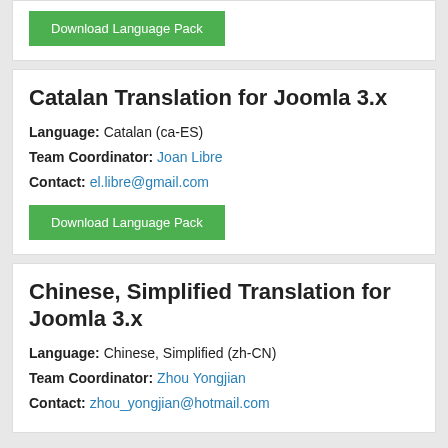Download Language Pack
Catalan Translation for Joomla 3.x
Language: Catalan (ca-ES)
Team Coordinator: Joan Libre
Contact: el.libre@gmail.com
Download Language Pack
Chinese, Simplified Translation for Joomla 3.x
Language: Chinese, Simplified (zh-CN)
Team Coordinator: Zhou Yongjian
Contact: zhou_yongjian@hotmail.com